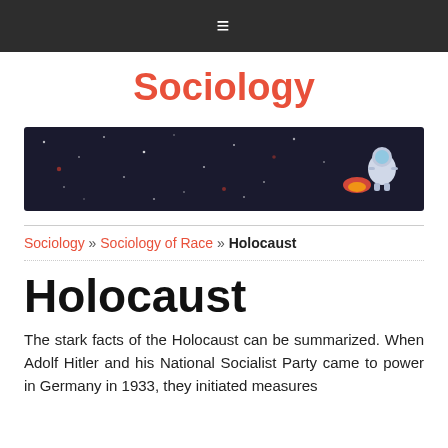≡
Sociology
[Figure (illustration): Dark space-themed banner with stars and an astronaut figure on the right side riding a rocket with flames]
Sociology » Sociology of Race » Holocaust
Holocaust
The stark facts of the Holocaust can be summarized. When Adolf Hitler and his National Socialist Party came to power in Germany in 1933, they initiated measures